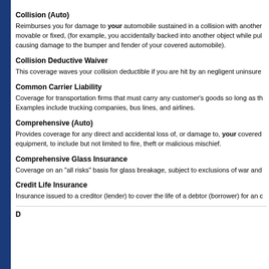Collision (Auto)
Reimburses you for damage to your automobile sustained in a collision with another movable or fixed, (for example, you accidentally backed into another object while pulling causing damage to the bumper and fender of your covered automobile).
Collision Deductive Waiver
This coverage waves your collision deductible if you are hit by an negligent uninsured
Common Carrier Liability
Coverage for transportation firms that must carry any customer's goods so long as the Examples include trucking companies, bus lines, and airlines.
Comprehensive (Auto)
Provides coverage for any direct and accidental loss of, or damage to, your covered equipment, to include but not limited to fire, theft or malicious mischief.
Comprehensive Glass Insurance
Coverage on an "all risks" basis for glass breakage, subject to exclusions of war and
Credit Life Insurance
Insurance issued to a creditor (lender) to cover the life of a debtor (borrower) for an c
D